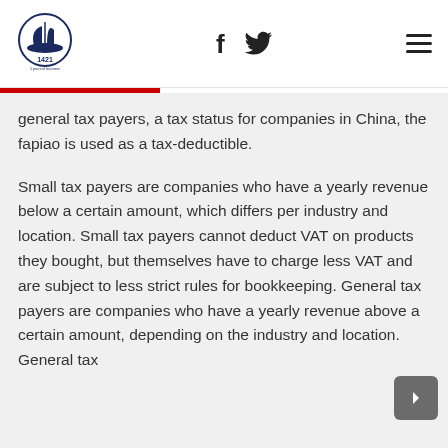[Figure (logo): Circular logo with sail/ship icon and text '1421' underneath, dark navy blue color]
[Figure (infographic): Social media icons: Facebook 'f' and Twitter bird icon]
[Figure (infographic): Hamburger menu icon (three horizontal lines)]
general tax payers, a tax status for companies in China, the fapiao is used as a tax-deductible.
Small tax payers are companies who have a yearly revenue below a certain amount, which differs per industry and location. Small tax payers cannot deduct VAT on products they bought, but themselves have to charge less VAT and are subject to less strict rules for bookkeeping. General tax payers are companies who have a yearly revenue above a certain amount, depending on the industry and location. General tax